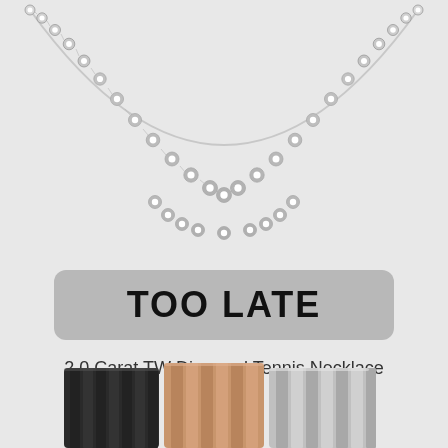[Figure (photo): Diamond tennis necklace photographed on light gray background, showing connected circular diamond links forming a curved necklace shape, cropped so only the bottom portion is visible]
TOO LATE
2.0 Carat TW Diamond Tennis Necklace
[Figure (photo): Three watch/bracelet band segments shown at bottom: dark gunmetal/black on left, rose gold/gold in center, silver on right, all with ridged rectangular link designs, cropped at bottom edge]